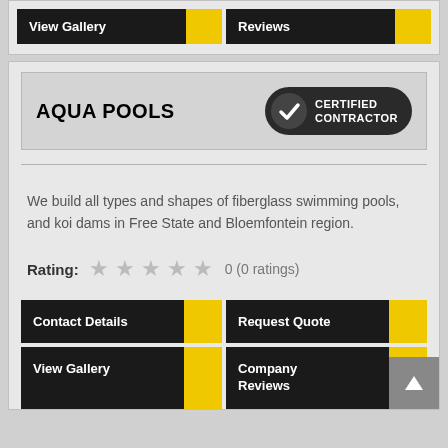[Figure (screenshot): Top section showing View Gallery and Reviews buttons in black and yellow style]
AQUA POOLS
[Figure (logo): Certified Contractor badge — dark oval with checkmark icon and text CERTIFIED CONTRACTOR]
We build all types and shapes of fiberglass swimming pools, and koi dams in Free State and Bloemfontein region.
Rating: 0 (0 ratings)
[Figure (screenshot): Contact Details, Request Quote, View Gallery, Company Reviews buttons in black and yellow style]